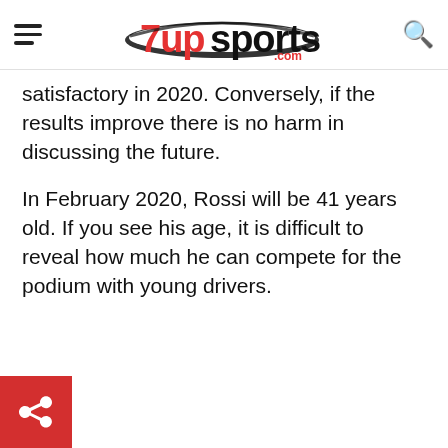7upsports.com
satisfactory in 2020. Conversely, if the results improve there is no harm in discussing the future.
In February 2020, Rossi will be 41 years old. If you see his age, it is difficult to reveal how much he can compete for the podium with young drivers.